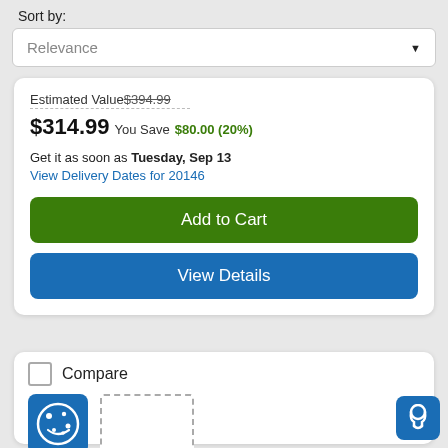Sort by:
Relevance
Estimated Value $394.99
$314.99 You Save $80.00 (20%)
Get it as soon as Tuesday, Sep 13
View Delivery Dates for 20146
Add to Cart
View Details
Compare
[Figure (logo): Blue square icon with a cookie/face illustration]
[Figure (other): Dashed rectangle placeholder box]
[Figure (other): Blue headset/support button]